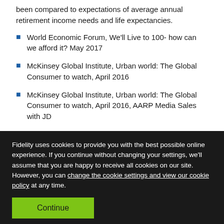been compared to expectations of average annual retirement income needs and life expectancies.
World Economic Forum, We'll Live to 100- how can we afford it? May 2017
McKinsey Global Institute, Urban world: The Global Consumer to watch, April 2016
McKinsey Global Institute, Urban world: The Global Consumer to watch, April 2016, AARP Media Sales with JD
Fidelity uses cookies to provide you with the best possible online experience. If you continue without changing your settings, we'll assume that you are happy to receive all cookies on our site. However, you can change the cookie settings and view our cookie policy at any time.